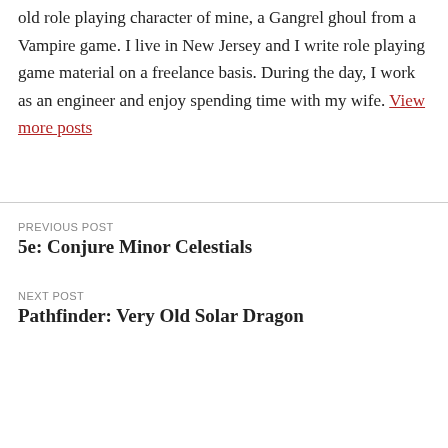old role playing character of mine, a Gangrel ghoul from a Vampire game. I live in New Jersey and I write role playing game material on a freelance basis. During the day, I work as an engineer and enjoy spending time with my wife. View more posts
PREVIOUS POST
5e: Conjure Minor Celestials
NEXT POST
Pathfinder: Very Old Solar Dragon